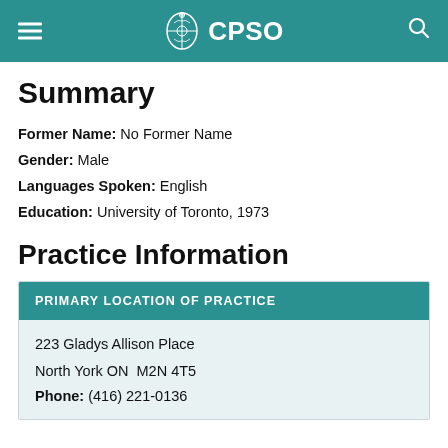CPSO
Summary
Former Name: No Former Name
Gender: Male
Languages Spoken: English
Education: University of Toronto, 1973
Practice Information
PRIMARY LOCATION OF PRACTICE
223 Gladys Allison Place
North York ON  M2N 4T5
Phone: (416) 221-0136